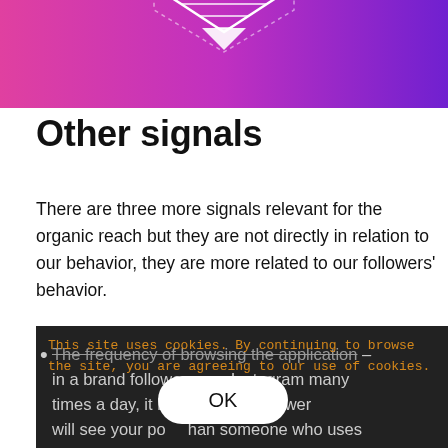[Figure (illustration): Gradient hero image with pink-to-purple background and a white outlined diamond/hexagon icon with hatching pattern, partially visible at top]
Other signals
There are three more signals relevant for the organic reach but they are not directly in relation to our behavior, they are more related to our followers' behavior.
This site uses cookies. By continuing to browse the site, you are agreeing to our use of cookies.
The frequency of browsing the application – in a brand follower uses Instagram many times a day, it is likely that follower will see your post than someone who uses Instagram twice a day.